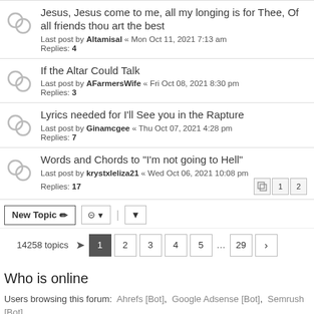Jesus, Jesus come to me, all my longing is for Thee, Of all friends thou art the best — Last post by Altamisal « Mon Oct 11, 2021 7:13 am — Replies: 4
If the Altar Could Talk — Last post by AFarmersWife « Fri Oct 08, 2021 8:30 pm — Replies: 3
Lyrics needed for I'll See you in the Rapture — Last post by Ginamcgee « Thu Oct 07, 2021 4:28 pm — Replies: 7
Words and Chords to "I'm not going to Hell" — Last post by krystxleliza21 « Wed Oct 06, 2021 10:08 pm — Replies: 17
New Topic | sort | filter | 14258 topics | 1 2 3 4 5 ... 29 >
Who is online
Users browsing this forum: Ahrefs [Bot], Google Adsense [Bot], Semrush [Bot] and 15 guests